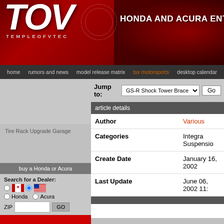[Figure (logo): Temple of VTEC logo with stylized TOV letters and tagline HONDA AND ACURA ENTHUSIAST on dark red background]
home | rumors and news | model release matrix | tsx motorsports | desktop calendar
Tire Rack Upgrade Garage
Jump to: GS-R Shock Tower Brace  Go
| Field | Value |
| --- | --- |
| Author | Various |
| Categories | Integra Suspension |
| Create Date | January 16, 2002 |
| Last Update | June 06, 2002 11: |
buy a Honda or Acura
Search for a Dealer:
Honda  Acura  ZIP  GO